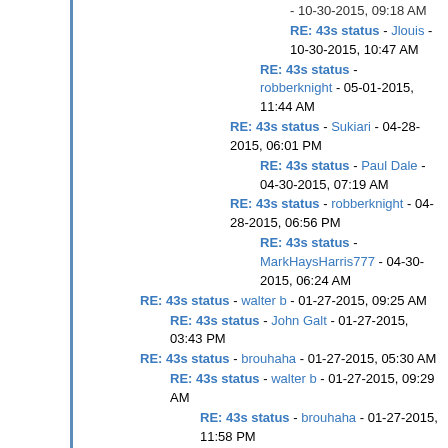RE: 43s status - Jlouis - 10-30-2015, 10:47 AM
RE: 43s status - robberknight - 05-01-2015, 11:44 AM
RE: 43s status - Sukiari - 04-28-2015, 06:01 PM
RE: 43s status - Paul Dale - 04-30-2015, 07:19 AM
RE: 43s status - robberknight - 04-28-2015, 06:56 PM
RE: 43s status - MarkHaysHarris777 - 04-30-2015, 06:24 AM
RE: 43s status - walter b - 01-27-2015, 09:25 AM
RE: 43s status - John Galt - 01-27-2015, 03:43 PM
RE: 43s status - brouhaha - 01-27-2015, 05:30 AM
RE: 43s status - walter b - 01-27-2015, 09:29 AM
RE: 43s status - brouhaha - 01-27-2015, 11:58 PM
RE: 43s status - walter b - 01-28-2015, 02:37 AM
RE: 43s status - John Galt - 01-31-2015, 09:39 PM
RE: 43s status - brouhaha - 02-01-2015, 03:53 AM
To the forum administrator(s) - walter b - 01-30-2015, 03:36 PM
RE: 43s status - walter b - 04-09-2015, 07:49 AM
RE: 43s status - Jim Horn - 04-28-2015, 03:11 PM
RE: 43s status - Tugdual - 04-28-2015, 04:21 PM